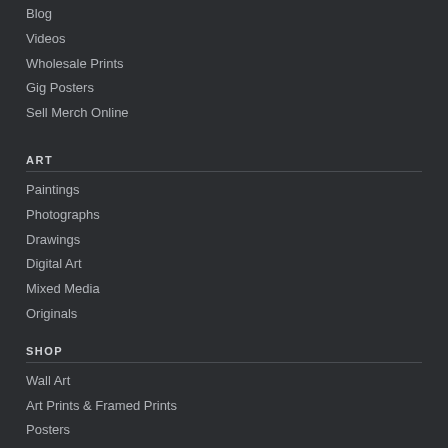Blog
Videos
Wholesale Prints
Gig Posters
Sell Merch Online
ART
Paintings
Photographs
Drawings
Digital Art
Mixed Media
Originals
SHOP
Wall Art
Art Prints & Framed Prints
Posters
Tapestries